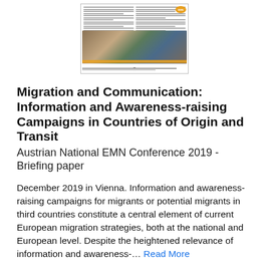[Figure (screenshot): Thumbnail image of a document page showing text columns and a conference panel photo with multiple speakers seated at a table, with an EMN logo badge in the corner.]
Migration and Communication: Information and Awareness-raising Campaigns in Countries of Origin and Transit
Austrian National EMN Conference 2019 - Briefing paper
December 2019 in Vienna. Information and awareness-raising campaigns for migrants or potential migrants in third countries constitute a central element of current European migration strategies, both at the national and European level. Despite the heightened relevance of information and awareness-... Read More